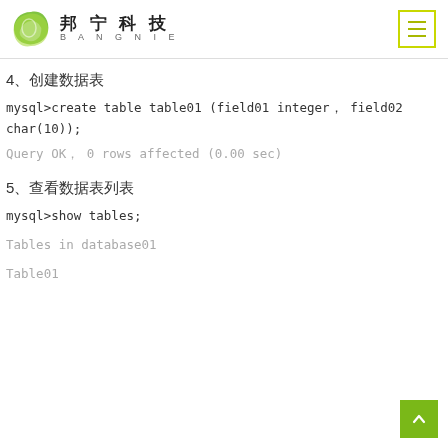邦宁科技 BANGNIE
4、创建数据表
mysql>create table table01 (field01 integer， field02 char(10));
Query OK， 0 rows affected (0.00 sec)
5、查看数据表列表
mysql>show tables;
Tables in database01
Table01